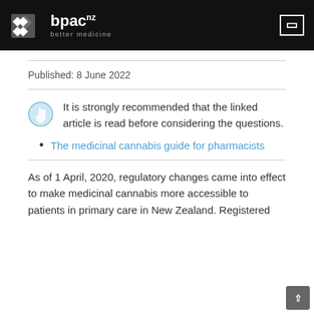bpac nz — better medicine
Published: 8 June 2022
It is strongly recommended that the linked article is read before considering the questions.
The medicinal cannabis guide for pharmacists
As of 1 April, 2020, regulatory changes came into effect to make medicinal cannabis more accessible to patients in primary care in New Zealand. Registered